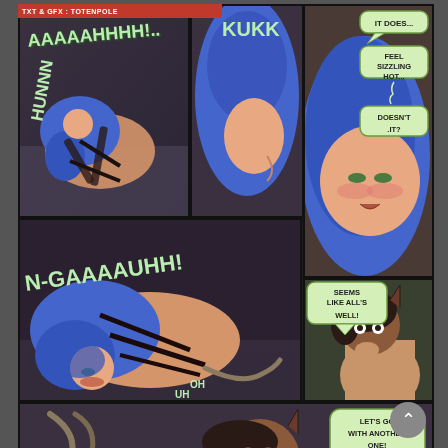TXT & GFX : TOTENPOLE
[Figure (illustration): Comic panel 1: Blue-haired woman bound in black straps, screaming, curled up on dark floor. Sound effect: AAAAAHHHH!.. HUNNN]
[Figure (illustration): Comic panel 2: Close profile of blue-haired character, sound effect KUKK]
[Figure (illustration): Comic panel 3: Close-up face of blue-haired character with flushed cheeks. Speech bubbles: IT DOES... FEEL SIZZLING HOT... DOESN'T .IT?]
[Figure (illustration): Comic panel 4: Wide panel - blue-haired bound woman on floor. Sound effect: N-GAAAAUHH! Small text: OH, UH]
[Figure (illustration): Comic panel 5: Dark-haired character with animal ears looking surprised. Speech bubble: SEEMS LIKE ALL'S WELL!]
[Figure (illustration): Comic panel 6 (partial, bottom): Dark-haired character with animal ears, partial view. Speech bubble: LET'S GO WITH ANOTHER ONE!]